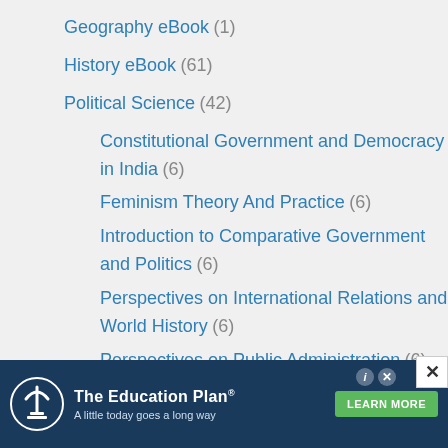Geography eBook (1)
History eBook (61)
Political Science (42)
Constitutional Government and Democracy in India (6)
Feminism Theory And Practice (6)
Introduction to Comparative Government and Politics (6)
Perspectives on International Relations and World History (6)
Perspectives on Public Administration (6)
[Figure (infographic): Advertisement banner for The Education Plan with logo, tagline 'A little today goes a long way', and a green LEARN MORE button]